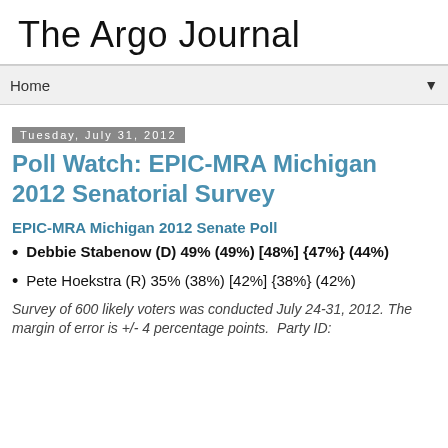The Argo Journal
Home
Tuesday, July 31, 2012
Poll Watch: EPIC-MRA Michigan 2012 Senatorial Survey
EPIC-MRA Michigan 2012 Senate Poll
Debbie Stabenow (D) 49% (49%) [48%] {47%} (44%)
Pete Hoekstra (R) 35% (38%) [42%] {38%} (42%)
Survey of 600 likely voters was conducted July 24-31, 2012. The margin of error is +/- 4 percentage points.  Party ID: